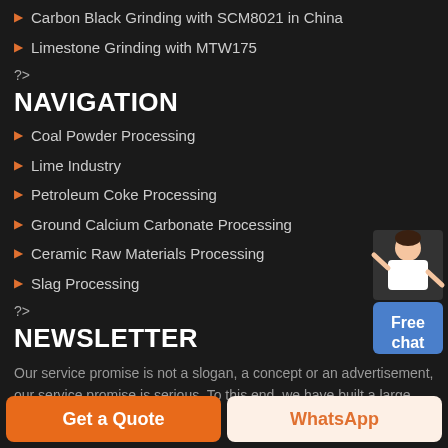Carbon Black Grinding with SCM8021 in China
Limestone Grinding with MTW175
?>
NAVIGATION
Coal Powder Processing
Lime Industry
Petroleum Coke Processing
Ground Calcium Carbonate Processing
Ceramic Raw Materials Processing
Slag Processing
?>
NEWSLETTER
Our service promise is not a slogan, a concept or an advertisement, our service promise is serious. To this end, we have built a large, systematic and standardized service guarantee system to ensure that each link is implemented in
[Figure (illustration): Customer service representative figure with Free chat button]
Get a Quote
WhatsApp